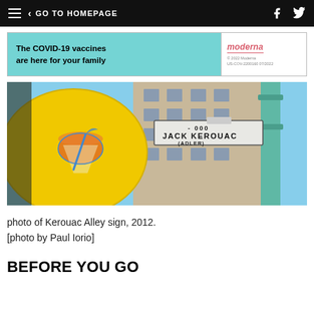GO TO HOMEPAGE
[Figure (infographic): Moderna COVID-19 vaccine advertisement banner: teal/cyan background on left with text 'The COVID-19 vaccines are here for your family', Moderna logo on right with fine print '© 2022 Moderna US-COV-2200160 07/2022']
[Figure (photo): Street-level photo showing a Jack Kerouac Alley (Adler) street sign on a teal/green pole, with a yellow awning featuring a cocktail drink graphic in the foreground, and a multi-story building in the background under a blue sky. Photo taken in 2012.]
photo of Kerouac Alley sign, 2012.
[photo by Paul Iorio]
BEFORE YOU GO